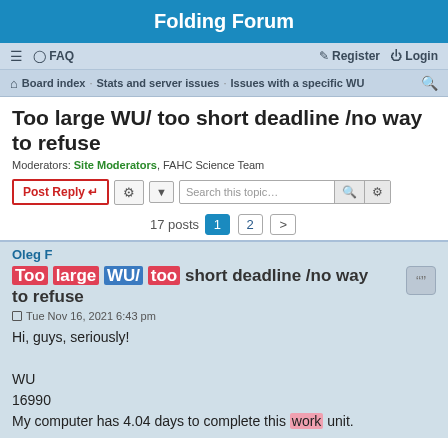Folding Forum
≡  FAQ    Register  Login
Board index · Stats and server issues · Issues with a specific WU
Too large WU/ too short deadline /no way to refuse
Moderators: Site Moderators, FAHC Science Team
Post Reply  [tool]  Search this topic...  17 posts  1  2  >
Oleg F
Too large WU/ too short deadline /no way to refuse
Tue Nov 16, 2021 6:43 pm
Hi, guys, seriously!

WU
16990
My computer has 4.04 days to complete this work unit.